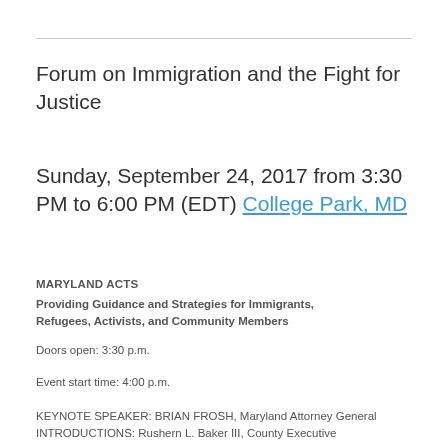Forum on Immigration and the Fight for Justice
Sunday, September 24, 2017 from 3:30 PM to 6:00 PM (EDT) College Park, MD
MARYLAND ACTS
Providing Guidance and Strategies for Immigrants, Refugees, Activists, and Community Members
Doors open: 3:30 p.m.
Event start time: 4:00 p.m.
KEYNOTE SPEAKER: BRIAN FROSH, Maryland Attorney General
INTRODUCTIONS: Rushern L. Baker III, County Executive